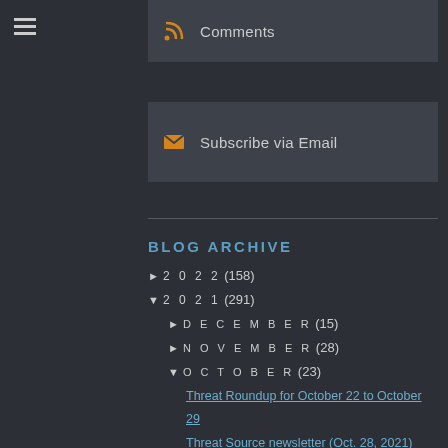Comments
Subscribe via Email
BLOG ARCHIVE
► 2022 (158)
▼ 2021 (291)
► DECEMBER (15)
► NOVEMBER (28)
▼ OCTOBER (23)
Threat Roundup for October 22 to October 29
Threat Source newsletter (Oct. 28, 2021)
Quarterly Report: Incident Response trends from Q3...
SQUIRRELWAFFLE Leverages malspam to deliver Qakbot...
Threat Roundup for October 15 to October 22
Threat Source newsletter (Oct. 21, 2021)
Malicious campaign uses a barrage of commodity RAT...